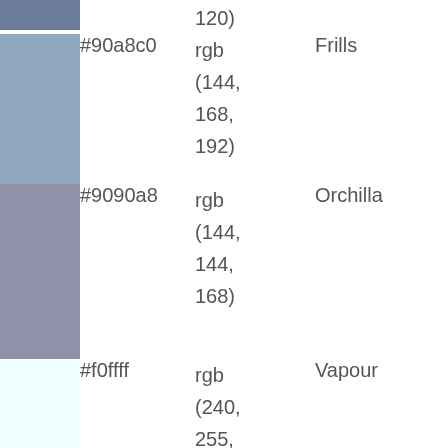| Swatch | Hex | RGB | Name |
| --- | --- | --- | --- |
|  |  | 120) |  |
|  | #90a8c0 | rgb (144, 168, 192) | Frills |
|  | #9090a8 | rgb (144, 144, 168) | Orchilla |
|  | #f0ffff | rgb (240, 255, 255) | Vapour |